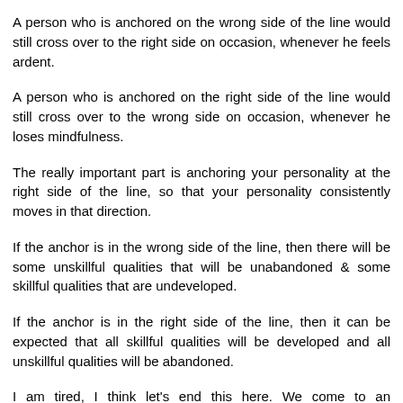A person who is anchored on the wrong side of the line would still cross over to the right side on occasion, whenever he feels ardent.
A person who is anchored on the right side of the line would still cross over to the wrong side on occasion, whenever he loses mindfulness.
The really important part is anchoring your personality at the right side of the line, so that your personality consistently moves in that direction.
If the anchor is in the wrong side of the line, then there will be some unskillful qualities that will be unabandoned & some skillful qualities that are undeveloped.
If the anchor is in the right side of the line, then it can be expected that all skillful qualities will be developed and all unskillful qualities will be abandoned.
I am tired, I think let's end this here. We come to an agreement, I think.